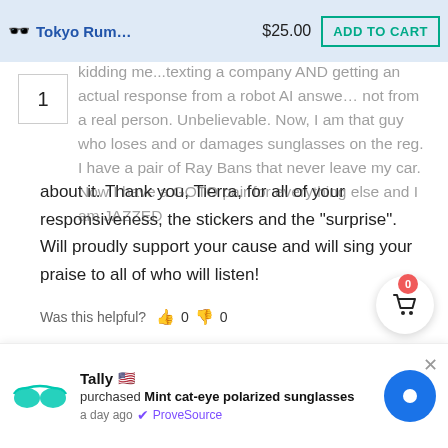[Figure (screenshot): E-commerce website header nav bar with sunglasses icon, 'Tokyo Rum...' brand name in blue, $25.00 price, and teal 'ADD TO CART' button]
kidding me...texting a company AND getting an actual response from a robot AI answer...not from a real person. Unbelievable. Now, I am that guy who loses and or damages sunglasses on the reg. I have a pair of Ray Bans that never leave my car. Now I have a GOTO pair for everything else and I am JAZZED about it. Thank you, Tierra, for all of your responsiveness, the stickers and the "surprise". Will proudly support your cause and will sing your praise to all of who will listen!
Was this helpful? 👍 0 👎 0
[Figure (screenshot): ProveSource notification bar showing teal glasses icon, 'Tally' with US flag purchased 'Mint cat-eye polarized sunglasses' a day ago, with purple ProveSource badge, blue chat circle, and X close button]